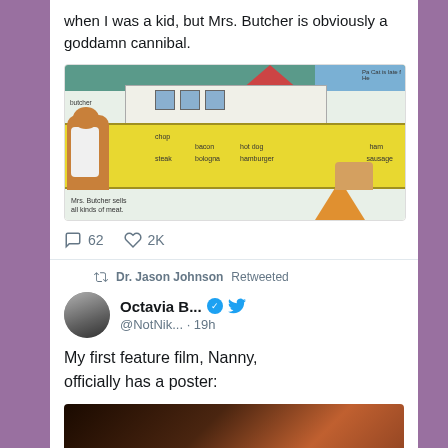when I was a kid, but Mrs. Butcher is obviously a goddamn cannibal.
[Figure (illustration): Children's book illustration showing Mrs. Butcher (a cat character) at a butcher shop counter with various meat products labeled: chop, bacon, hot dog, steak, bologna, hamburger, ham, sausage. Caption reads 'Mrs. Butcher sells all kinds of meat.' Header says 'Pa Cat is late f...']
62   2K
Dr. Jason Johnson Retweeted
Octavia B...  @NotNik... · 19h
My first feature film, Nanny, officially has a poster:
[Figure (photo): Dark, close-up movie poster image for the film 'Nanny']